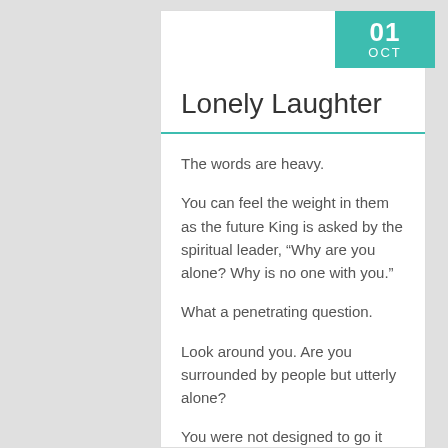01 OCT
Lonely Laughter
The words are heavy.
You can feel the weight in them as the future King is asked by the spiritual leader, “Why are you alone? Why is no one with you.”
What a penetrating question.
Look around you. Are you surrounded by people but utterly alone?
You were not designed to go it alone. From the beginning it was clear, “It is not good for man to be alone.”
Isolation leads to idleness and idleness…